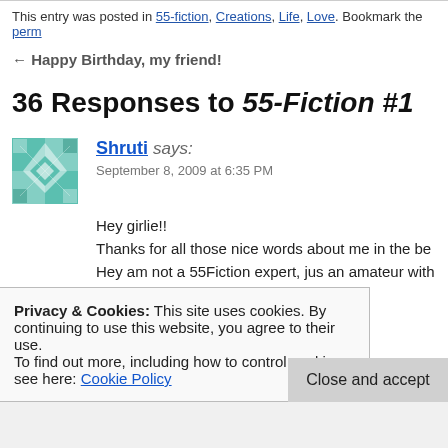This entry was posted in 55-fiction, Creations, Life, Love. Bookmark the perm
← Happy Birthday, my friend!
36 Responses to 55-Fiction #1
Shruti says: September 8, 2009 at 6:35 PM
Hey girlie!! Thanks for all those nice words about me in the be Hey am not a 55Fiction expert, jus an amateur with
Privacy & Cookies: This site uses cookies. By continuing to use this website, you agree to their use. To find out more, including how to control cookies, see here: Cookie Policy
Close and accept